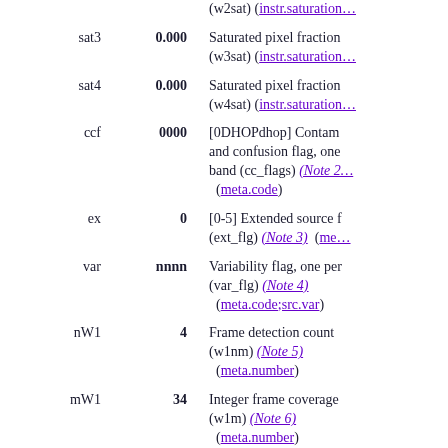| Name | Value | Description |
| --- | --- | --- |
|  |  | (w2sat) (instr.saturation… |
| sat3 | 0.000 | Saturated pixel fraction (w3sat) (instr.saturation… |
| sat4 | 0.000 | Saturated pixel fraction (w4sat) (instr.saturation… |
| ccf | 0000 | [0DHOPdhop] Contamination and confusion flag, one per band (cc_flags) (Note 2) (meta.code) |
| ex | 0 | [0-5] Extended source flag (ext_flg) (Note 3) (me… |
| var | nnnn | Variability flag, one per band (var_flg) (Note 4) (meta.code;src.var) |
| nW1 | 4 | Frame detection count (w1nm) (Note 5) (meta.number) |
| mW1 | 34 | Integer frame coverage (w1m) (Note 6) (meta.number) |
| nW2 | 0 | Frame detection count (w2nm) (Note 5) (meta.number) |